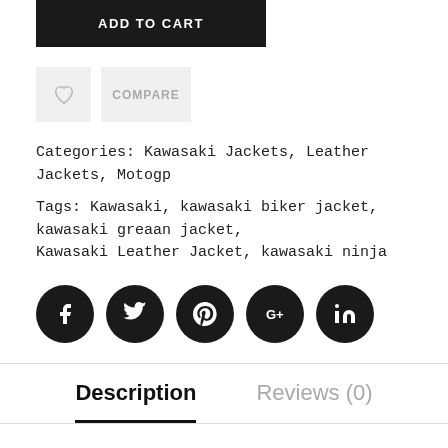ADD TO CART
Categories: Kawasaki Jackets, Leather Jackets, Motogp
Tags: Kawasaki, kawasaki biker jacket, kawasaki greaan jacket, Kawasaki Leather Jacket, kawasaki ninja
[Figure (infographic): Row of five dark circular social media icon buttons: Facebook (f), Twitter (bird), Pinterest (p), Google+ (G+), LinkedIn (in)]
Description
Reviews (0)
kawasaki z1000 jacket